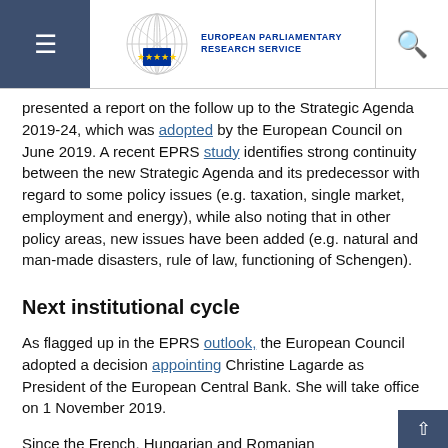European Parliamentary Research Service
presented a report on the follow up to the Strategic Agenda 2019-24, which was adopted by the European Council on June 2019. A recent EPRS study identifies strong continuity between the new Strategic Agenda and its predecessor with regard to some policy issues (e.g. taxation, single market, employment and energy), while also noting that in other policy areas, new issues have been added (e.g. natural and man-made disasters, rule of law, functioning of Schengen).
Next institutional cycle
As flagged up in the EPRS outlook, the European Council adopted a decision appointing Christine Lagarde as President of the European Central Bank. She will take office on 1 November 2019.
Since the French, Hungarian and Romanian Commissioners-designate failed to get the European Parliament's approval earlier in October, the calendar for the start of the new Commission's mandate has had to be modified. Following hearings with the new candidates, the European Parliament is now expected to vote on the election